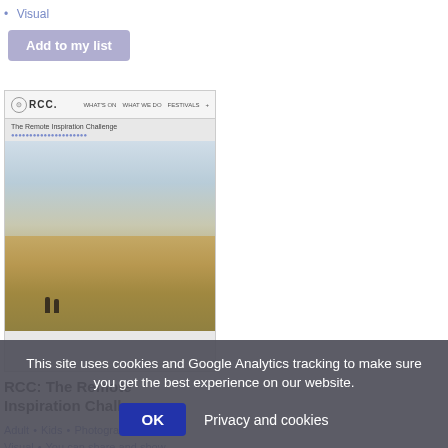• Visual
Add to my list
[Figure (screenshot): Screenshot of the RCC (Remote Cycle Challenge) website showing the header with RCC logo and navigation links, a page title 'The Remote Inspiration Challenge' with subtitle, and a landscape photograph showing two figures on a hillside trail under dramatic sky.]
RCC: The Remote Inspiration Challenge
Adult • Kids • Photography • Teens • Visual • You can share and show
This site uses cookies and Google Analytics tracking to make sure you get the best experience on our website.
OK   Privacy and cookies